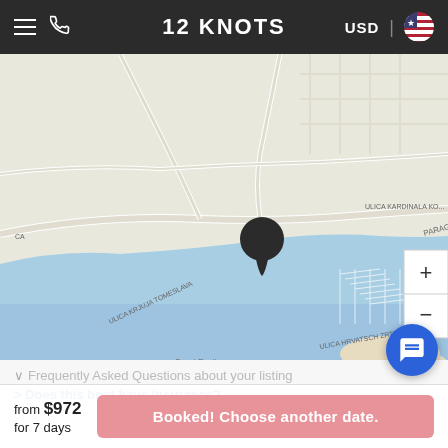12 KNOTS — USD | [US Flag]
[Figure (map): Street map showing coastal area near Seget Donji, Croatia, with blue water (sea/bay) in the lower portion, road network in the upper portion, and a black location pin marker near the marina/harbor area. Map controls (+ and -) visible on right side.]
from $972
for 7 days
Booked! Choose another date.
Frequently Asked Questions about your listing
> Does this boat have insurance?